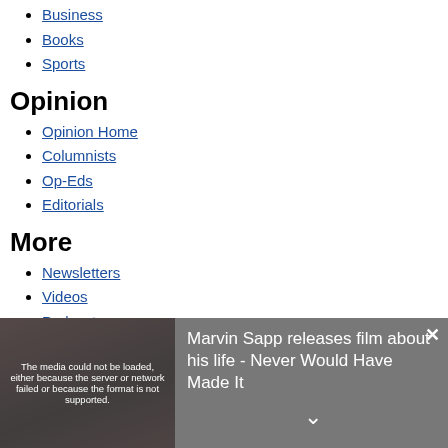Business
Books
Sports
Opinion
Opinion Home
Columnists
Op-Eds
Editorials
More
Newsletters
Videos
Podcasts
CP Magazine
[Figure (screenshot): Overlay showing a video player with error message 'The media could not be loaded, either because the server or network failed or because the format is not supported.' and a thumbnail of a person. Adjacent text reads: 'Marvin Sapp releases film about his life - Never Would Have Made It']